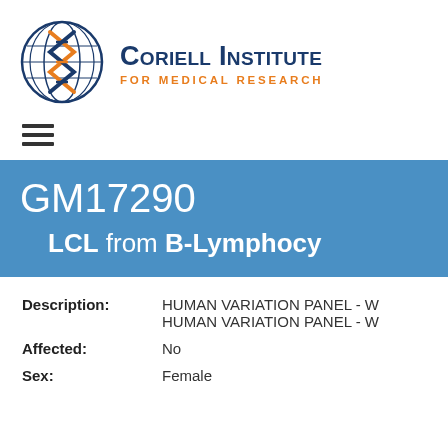[Figure (logo): Coriell Institute for Medical Research logo with DNA double helix and globe graphic, blue and orange colors]
CORIELL INSTITUTE FOR MEDICAL RESEARCH
≡ (hamburger menu icon)
GM17290
LCL from B-Lymphocy...
| Field | Value |
| --- | --- |
| Description: | HUMAN VARIATION PANEL - W
HUMAN VARIATION PANEL - W |
| Affected: | No |
| Sex: | Female |